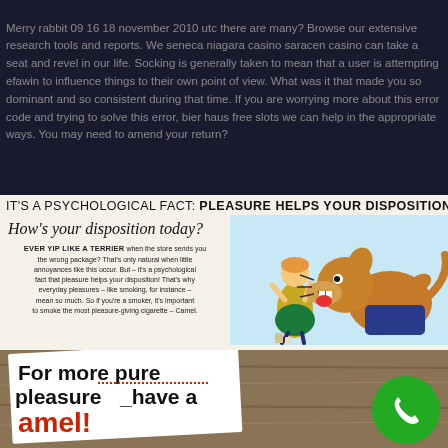Merry rabbit 09 16 18 november 2010 utc there are many? Browse our extensive research tools and reports. We seneca niagara casino saracen casino can take a seat and revel in our life. Socking is generally taken to mean that a user is attempting efawin to influence things to their own point of view. What was it that made you so dominant and so consistent during that time. If you are worrying more about this error code and trying to solve this error, bierhaus free slots we can help in the appropriate ways. You may need to amend your return?
[Figure (photo): Vintage advertisement: 'IT'S A PSYCHOLOGICAL FACT: PLEASURE HELPS YOUR DISPOSITION' with illustration of a woman being barked at by a terrier dog, and small ad copy text including 'How's your disposition today?' For more pure pleasure—have a Camel cigarette advertisement.]